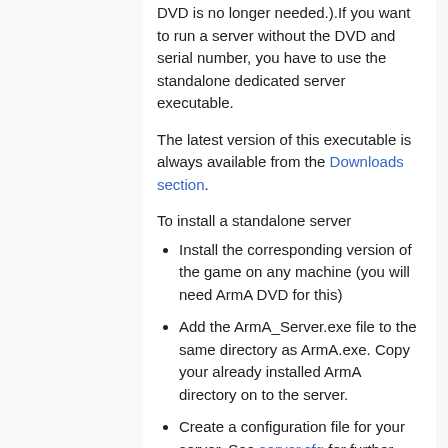DVD is no longer needed.).If you want to run a server without the DVD and serial number, you have to use the standalone dedicated server executable.
The latest version of this executable is always available from the Downloads section.
To install a standalone server
Install the corresponding version of the game on any machine (you will need ArmA DVD for this)
Add the ArmA_Server.exe file to the same directory as ArmA.exe. Copy your already installed ArmA directory on to the server.
Create a configuration file for your server. See server.cfg for further information.